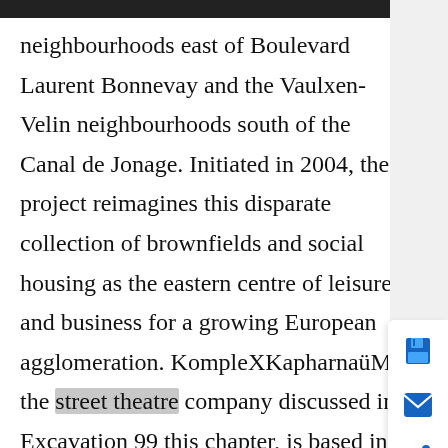neighbourhoods east of Boulevard Laurent Bonnevay and the Vaulxen-Velin neighbourhoods south of the Canal de Jonage. Initiated in 2004, the project reimagines this disparate collection of brownfields and social housing as the eastern centre of leisure and business for a growing European agglomeration. KompleXKapharnaüM, the street theatre company discussed in Excavation 99 this chapter, is based in a former metal parts factory on rue Francia, a short walk past the city limits in Vaulx-en-Velin's western neighbour